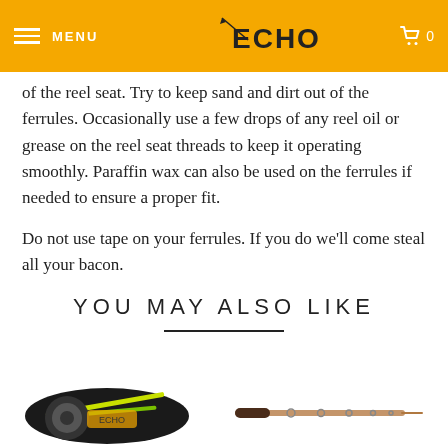ECHO — MENU (navigation bar with logo and cart)
of the reel seat. Try to keep sand and dirt out of the ferrules. Occasionally use a few drops of any reel oil or grease on the reel seat threads to keep it operating smoothly. Paraffin wax can also be used on the ferrules if needed to ensure a proper fit.
Do not use tape on your ferrules. If you do we'll come steal all your bacon.
YOU MAY ALSO LIKE
[Figure (photo): Fly fishing rod with reel and case, product photo]
[Figure (photo): Fly fishing rod, tan/natural color, product photo]